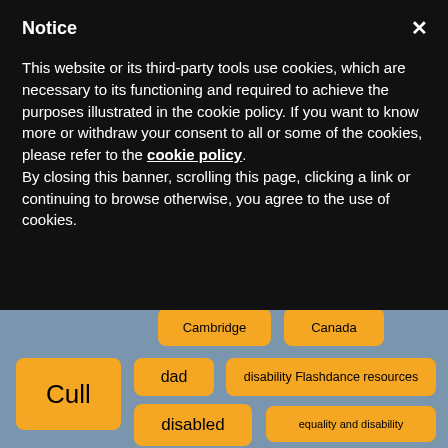Notice
This website or its third-party tools use cookies, which are necessary to its functioning and required to achieve the purposes illustrated in the cookie policy. If you want to know more or withdraw your consent to all or some of the cookies, please refer to the cookie policy.
By closing this banner, scrolling this page, clicking a link or continuing to browse otherwise, you agree to the use of cookies.
[Figure (other): Tag cloud on blue-grey background showing word tags as orange rounded rectangles. Visible tags include: Cambridge, Canada, Cull, dad, disability Flashdance resources, disabled, equality and disability, foggy pyjamas suitcase radio flu Zimbabwe, Grace, harness, and partial tags at edges.]